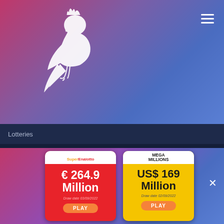[Figure (logo): White cockatiel/parakeet bird silhouette logo on gradient purple-pink-blue background header]
Lotteries
Please note: Lottery Parakeet is a ranking portal website that provides US and International Lottery results and information. Lottery Parakeet does not offer online lottery services. We promote independent ticket purchasing services. These results are unofficial. Always check with the official source for lottery numbers in a particular state. Lottery Parakeet...
[Figure (other): SuperEnalotto lottery card (red) showing € 264.9 Million, Draw date 03/09/2022, with PLAY button]
[Figure (other): Mega Millions lottery card (yellow) showing US$ 169 Million, Draw date 02/09/2022, with PLAY button]